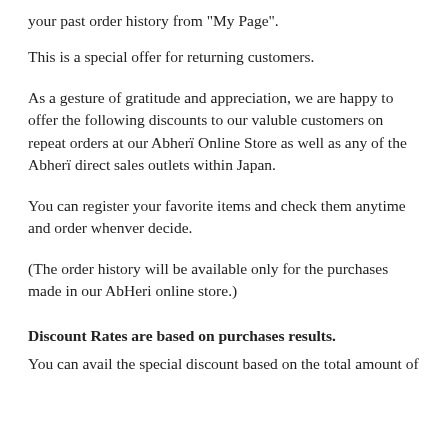your past order history from “My Page”.
This is a special offer for returning customers.
As a gesture of gratitude and appreciation, we are happy to offer the following discounts to our valuble customers on repeat orders at our Abherï Online Store as well as any of the Abherï direct sales outlets within Japan.
You can register your favorite items and check them anytime and order whenver decide.
(The order history will be available only for the purchases made in our AbHeri online store.)
Discount Rates are based on purchases results.
You can avail the special discount based on the total amount of